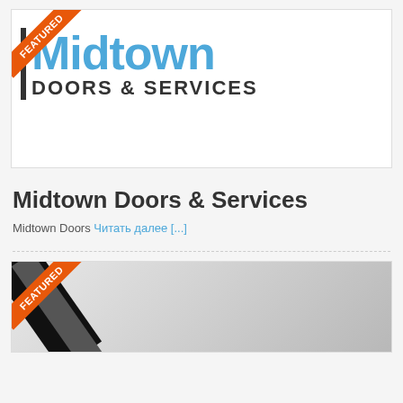[Figure (logo): Midtown Doors & Services logo with FEATURED ribbon in top-left corner]
Midtown Doors & Services
Midtown Doors Читать далее [...]
[Figure (photo): Second listing image with FEATURED ribbon, showing a dark diagonal stripe on grey textured background]